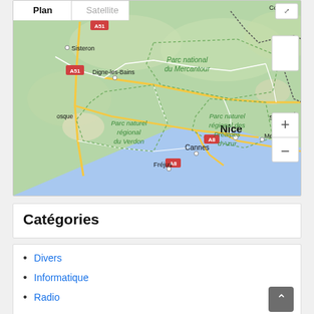[Figure (map): Google Maps view showing southeastern France with cities Nice, Cannes, Fréjus, Menton, Digne-les-Bains, Sisteron, Sanremo, and natural parks including Parc national du Mercantour, Parc naturel régional du Verdon, Parc naturel régional des Préalpes d'Azur. Map controls include Plan/Satellite tabs, zoom +/- buttons, and fullscreen button. Footer shows Google logo, Raccourcis clavier, Données cartographiques, Conditions d'utilisation.]
Catégories
Divers
Informatique
Radio